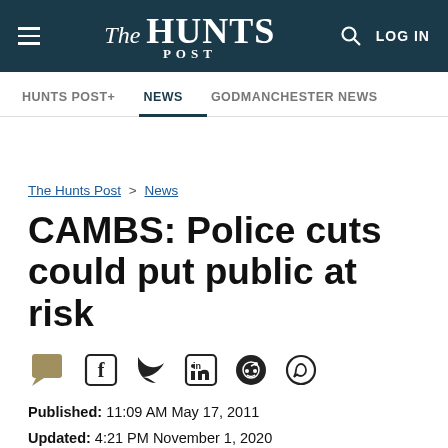The Hunts Post — LOG IN
HUNTS POST+ | NEWS | GODMANCHESTER NEWS
The Hunts Post > News
CAMBS: Police cuts could put public at risk
Published: 11:09 AM May 17, 2011
Updated: 4:21 PM November 1, 2020